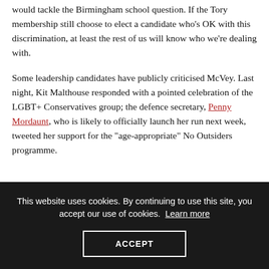clean Every Tory leadership candidate should be asked how they would tackle the Birmingham school question. If the Tory membership still choose to elect a candidate who's OK with this discrimination, at least the rest of us will know who we're dealing with.
Some leadership candidates have publicly criticised McVey. Last night, Kit Malthouse responded with a pointed celebration of the LGBT+ Conservatives group; the defence secretary, Penny Mordaunt, who is likely to officially launch her run next week, tweeted her support for the "age-appropriate" No Outsiders programme.
This website uses cookies. By continuing to use this site, you accept our use of cookies. Learn more
ACCEPT